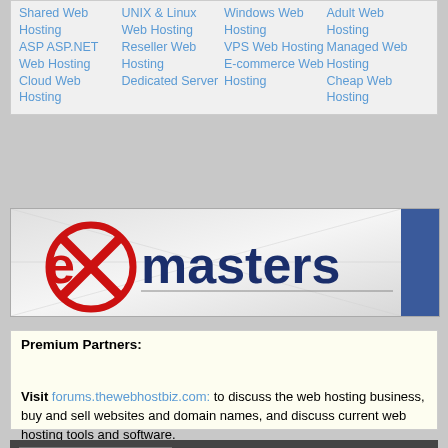Shared Web Hosting
ASP ASP.NET Web Hosting
Cloud Web Hosting
UNIX & Linux Web Hosting
Reseller Web Hosting
Dedicated Server
Windows Web Hosting
VPS Web Hosting
E-commerce Web Hosting
Adult Web Hosting
Managed Web Hosting
Cheap Web Hosting
[Figure (logo): eXmasters logo with red X circle and dark blue text on light background with blue bar on right]
Premium Partners:
Visit forums.thewebhostbiz.com: to discuss the web hosting business, buy and sell websites and domain names, and discuss current web hosting tools and software.
-- vB4 Default Style   Contact Us